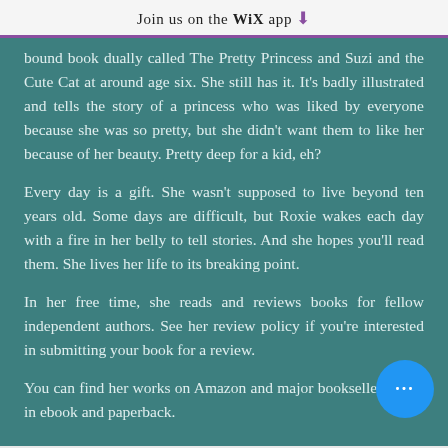Join us on the WiX app ↓
bound book dually called The Pretty Princess and Suzi and the Cute Cat at around age six. She still has it. It's badly illustrated and tells the story of a princess who was liked by everyone because she was so pretty, but she didn't want them to like her because of her beauty. Pretty deep for a kid, eh?
Every day is a gift. She wasn't supposed to live beyond ten years old. Some days are difficult, but Roxie wakes each day with a fire in her belly to tell stories. And she hopes you'll read them. She lives her life to its breaking point.
In her free time, she reads and reviews books for fellow independent authors. See her review policy if you're interested in submitting your book for a review.
You can find her works on Amazon and major booksellers, both in ebook and paperback.